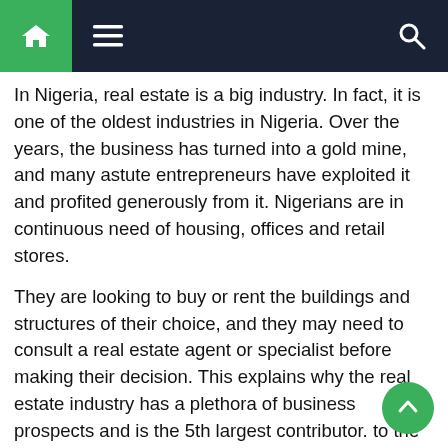Navigation bar with home, menu, and search icons
In Nigeria, real estate is a big industry. In fact, it is one of the oldest industries in Nigeria. Over the years, the business has turned into a gold mine, and many astute entrepreneurs have exploited it and profited generously from it. Nigerians are in continuous need of housing, offices and retail stores.
They are looking to buy or rent the buildings and structures of their choice, and they may need to consult a real estate agent or specialist before making their decision. This explains why the real estate industry has a plethora of business prospects and is the 5th largest contributor. to the GDP of Africa's largest economy.
[Figure (photo): Image placeholder showing 'How to Start a Real Estate Business in Nigeria 2022']